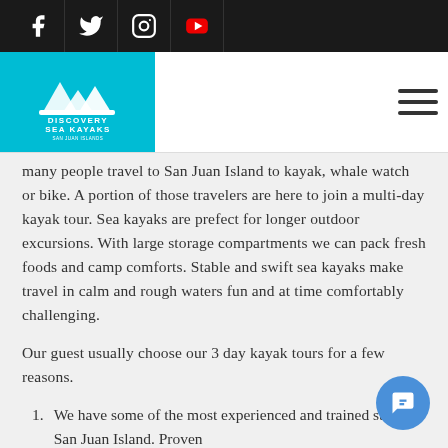Social media icons: Facebook, Twitter, Instagram, YouTube
[Figure (logo): Discovery Sea Kayaks logo — white kayak/crown icon on cyan background with text DISCOVERY SEA KAYAKS]
many people travel to San Juan Island to kayak, whale watch or bike. A portion of those travelers are here to join a multi-day kayak tour. Sea kayaks are prefect for longer outdoor excursions. With large storage compartments we can pack fresh foods and camp comforts. Stable and swift sea kayaks make travel in calm and rough waters fun and at time comfortably challenging.
Our guest usually choose our 3 day kayak tours for a few reasons.
We have some of the most experienced and trained staff on San Juan Island. Proven